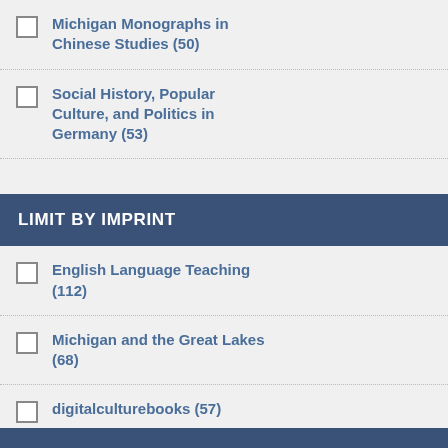Michigan Monographs in Chinese Studies (50)
Social History, Popular Culture, and Politics in Germany (53)
SHOW MORE...
LIMIT BY IMPRINT
English Language Teaching (112)
Michigan and the Great Lakes (68)
digitalculturebooks (57)
[Figure (photo): Partial book cover showing a black and white photograph of people]
Ebo
6.
[Figure (photo): Book cover: The Apocalypse in Reformation Nuremberg by Andrew L. Thomas, dark cover with portrait]
The
Jews
And
Illu
And
Ebo
7.
[Figure (photo): Book cover: Righteous Revolutionaries: Morality, Mobilization, and Violence in the Making of the Chinese State by Jeffrey A. Javed, dark cover]
Rig
Mor
Jeffr
A re
hist